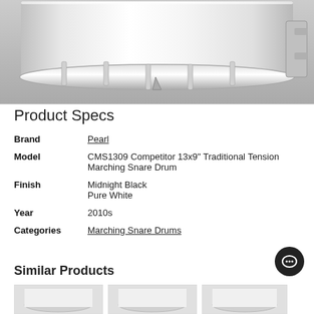[Figure (photo): Close-up photo of a Pearl marching snare drum (white/chrome finish) showing the drum head, rim, lugs, and hardware from a slightly angled top-down perspective.]
Product Specs
| Brand | Pearl |
| Model | CMS1309 Competitor 13x9" Traditional Tension Marching Snare Drum |
| Finish | Midnight Black
Pure White |
| Year | 2010s |
| Categories | Marching Snare Drums |
Similar Products
[Figure (photo): Thumbnail photo of a similar snare drum product #1]
[Figure (photo): Thumbnail photo of a similar snare drum product #2]
[Figure (photo): Thumbnail photo of a similar snare drum product #3]